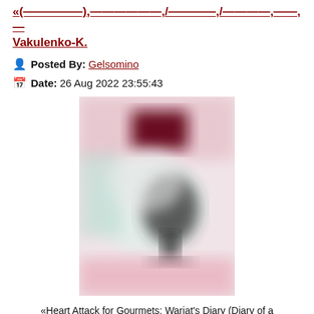«(—————), ——————, /————,/————,——,— Vakulenko-K.
Posted By: Gelsomino
Date: 26 Aug 2022 23:55:43
[Figure (photo): Blurred/obscured book cover image with pink and dark tones]
«Heart Attack for Gourmets: Wariat's Diary (Diary of a ... Gourmets» by Makukha... Makuha... K...